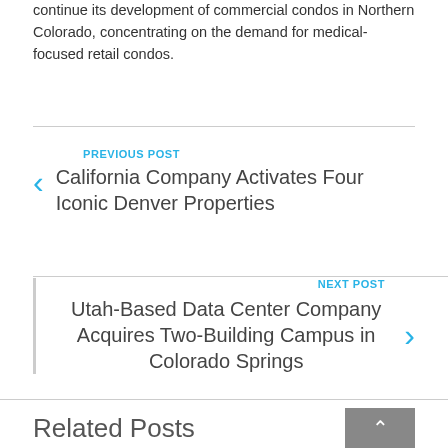continue its development of commercial condos in Northern Colorado, concentrating on the demand for medical-focused retail condos.
PREVIOUS POST
California Company Activates Four Iconic Denver Properties
NEXT POST
Utah-Based Data Center Company Acquires Two-Building Campus in Colorado Springs
Related Posts